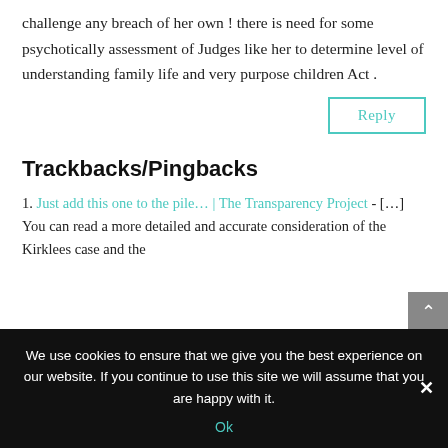challenge any breach of her own ! there is need for some psychotically assessment of Judges like her to determine level of understanding family life and very purpose children Act .
Reply
Trackbacks/Pingbacks
1. Just add this one to the pile… | The Transparency Project - […] You can read a more detailed and accurate consideration of the Kirklees case and the
We use cookies to ensure that we give you the best experience on our website. If you continue to use this site we will assume that you are happy with it.
Ok